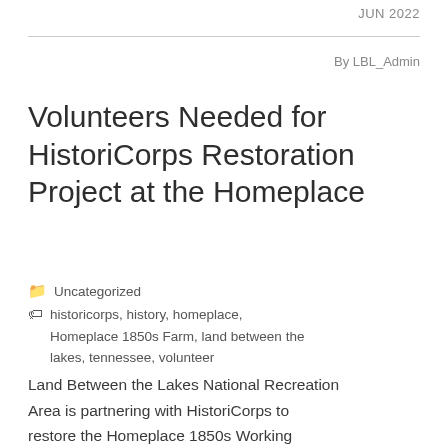JUN 2022
By LBL_Admin
Volunteers Needed for HistoriCorps Restoration Project at the Homeplace
Uncategorized
historicorps, history, homeplace, Homeplace 1850s Farm, land between the lakes, tennessee, volunteer
Land Between the Lakes National Recreation Area is partnering with HistoriCorps to restore the Homeplace 1850s Working Farm's iconic Double Pen House- and we